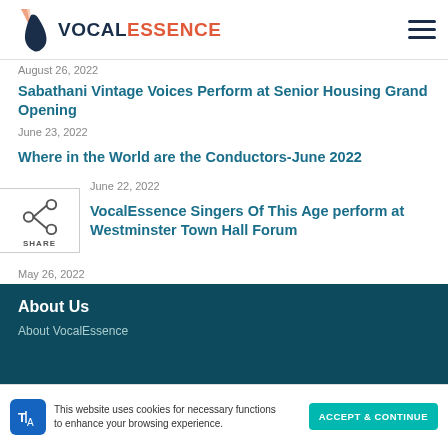VOCALESSENCE
August 26, 2022
Sabathani Vintage Voices Perform at Senior Housing Grand Opening
June 23, 2022
Where in the World are the Conductors-June 2022
June 22, 2022
[Figure (other): Share widget with network share icon and SHARE label]
VocalEssence Singers Of This Age perform at Westminster Town Hall Forum
May 26, 2022
About Us
About VocalEssence
This website uses cookies for necessary functions to enhance your browsing experience.
ACCEPT & CONTINUE